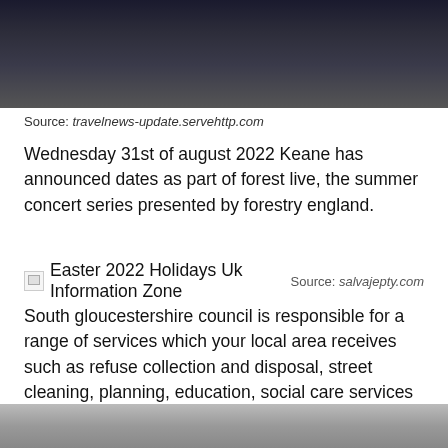[Figure (photo): Photo of students in dark school uniforms, partially visible at top of page]
Source: travelnews-update.servehttp.com
Wednesday 31st of august 2022 Keane has announced dates as part of forest live, the summer concert series presented by forestry england.
[Figure (photo): Broken image placeholder for Easter 2022 Holidays Uk Information Zone with source: salvajepty.com]
South gloucestershire council is responsible for a range of services which your local area receives such as refuse collection and disposal, street cleaning, planning, education, social care services and road maintenance. Please allow 7 days from the above date for the application to appear on the council’s web site at www.southglos.gov.uk/planning.
[Figure (photo): Partially visible grey/blurred photo at bottom of page]